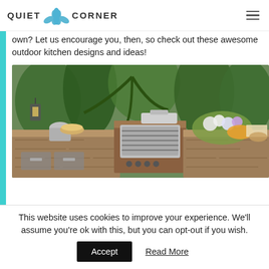QUIET CORNER
own? Let us encourage you, then, so check out these awesome outdoor kitchen designs and ideas!
[Figure (photo): Outdoor kitchen with stone countertops, stainless steel grill, lantern, flowers, and tropical plants in the background]
This website uses cookies to improve your experience. We'll assume you're ok with this, but you can opt-out if you wish.